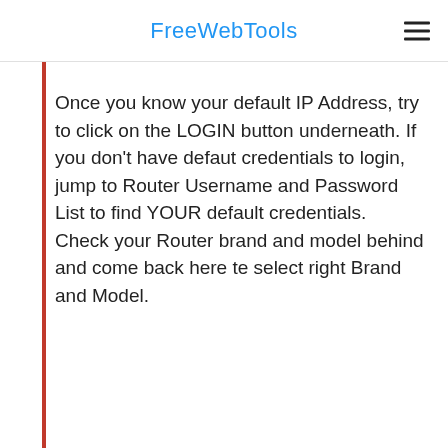FreeWebTools
Once you know your default IP Address, try to click on the LOGIN button underneath. If you don't have defaut credentials to login, jump to Router Username and Password List to find YOUR default credentials. Check your Router brand and model behind and come back here te select right Brand and Model.